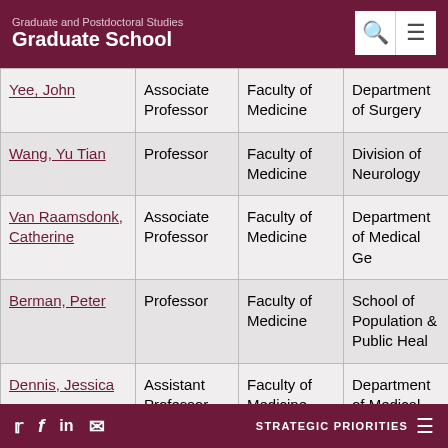Graduate and Postdoctoral Studies / Graduate School
| Name | Rank | Faculty | Department |
| --- | --- | --- | --- |
| Yee, John | Associate Professor | Faculty of Medicine | Department of Surgery |
| Wang, Yu Tian | Professor | Faculty of Medicine | Division of Neurology |
| Van Raamsdonk, Catherine | Associate Professor | Faculty of Medicine | Department of Medical Ge... |
| Berman, Peter | Professor | Faculty of Medicine | School of Population & Public Health |
| Dennis, Jessica | Assistant Professor | Faculty of Medicine | Department of Medical Ge... |
| Scott, David | Associate | Faculty of | Division of |
Twitter Facebook LinkedIn Email | STRATEGIC PRIORITIES